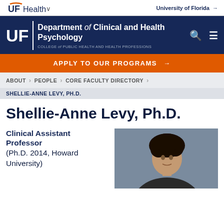UF Health | University of Florida →
Department of Clinical and Health Psychology | COLLEGE of PUBLIC HEALTH AND HEALTH PROFESSIONS
APPLY TO OUR PROGRAMS →
ABOUT > PEOPLE > CORE FACULTY DIRECTORY
SHELLIE-ANNE LEVY, PH.D.
Shellie-Anne Levy, Ph.D.
Clinical Assistant Professor
(Ph.D. 2014, Howard University)
[Figure (photo): Professional headshot photo of Shellie-Anne Levy]